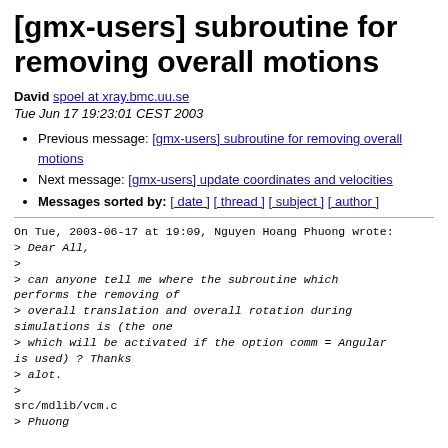[gmx-users] subroutine for removing overall motions
David spoel at xray.bmc.uu.se
Tue Jun 17 19:23:01 CEST 2003
Previous message: [gmx-users] subroutine for removing overall motions
Next message: [gmx-users] update coordinates and velocities
Messages sorted by: [ date ] [ thread ] [ subject ] [ author ]
On Tue, 2003-06-17 at 19:09, Nguyen Hoang Phuong wrote:
> Dear All,
>
> can anyone tell me where the subroutine which performs the removing of
> overall translation and overall rotation during simulations is (the one
> which will be activated if the option comm = Angular is used) ? Thanks
> alot.
>
src/mdlib/vcm.c
> Phuong